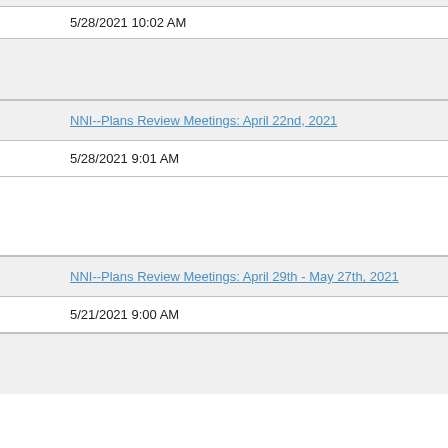5/28/2021 10:02 AM
NNI--Plans Review Meetings: April 22nd, 2021
5/28/2021 9:01 AM
NNI--Plans Review Meetings: April 29th - May 27th, 2021
5/21/2021 9:00 AM